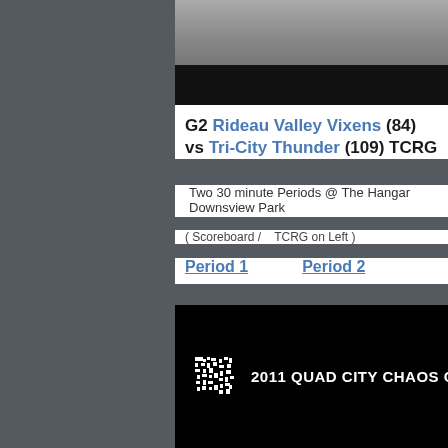[Figure (photo): Top portion showing a sports/roller derby scene, partially darkened at bottom]
G2 Rideau Valley Vixens (84) vs Tri-City Thunder (109) TCRG
Two 30 minute Periods @ The Hangar Downsview Park
( Scoreboard /    TCRG on Left )
Period 1    Period 2
[Figure (screenshot): Black video thumbnail with white logo and text reading 2011 QUAD CITY CHAOS C...]